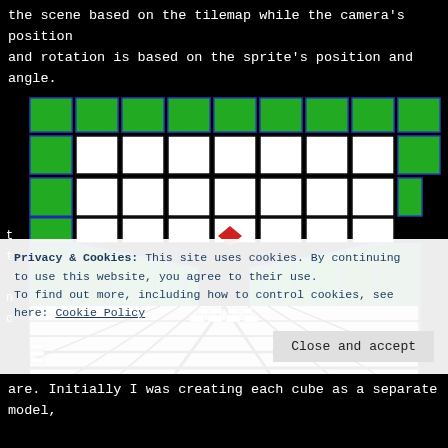the scene based on the tilemap while the camera's position and rotation is based on the sprite's position and angle.
[Figure (screenshot): 3D game engine rendering of a corridor/hallway built from green and white tiles viewed in first-person perspective, with a red diamond shape (player marker) visible in the center distance. Green tiles line the top and walls with blue outlines, white/black tiled floor extends to the horizon. A cookie consent overlay is visible at the bottom of the screenshot.]
Privacy & Cookies: This site uses cookies. By continuing to use this website, you agree to their use.
To find out more, including how to control cookies, see here: Cookie Policy
Close and accept
are. Initially I was creating each cube as a separate model,